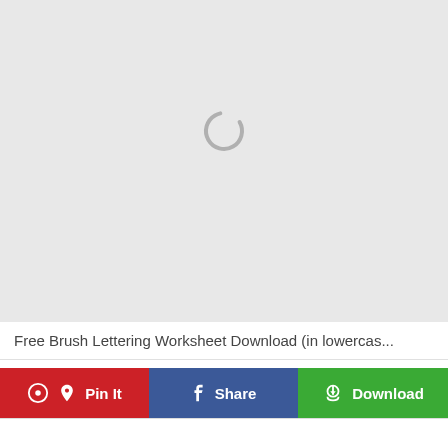[Figure (screenshot): Loading spinner on gray background — a circular arc spinner icon centered on a light gray rectangular area, indicating an image is loading.]
Free Brush Lettering Worksheet Download (in lowercas...
Pin It
Share
Download